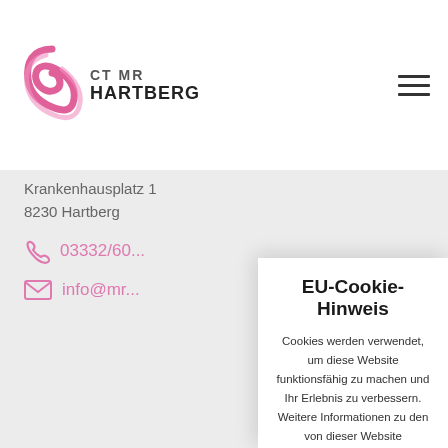[Figure (logo): CT MR Hartberg logo with pink swirl graphic and bold text]
Krankenhausplatz 1
8230 Hartberg
03332/60...
info@mr...
EU-Cookie-Hinweis
Cookies werden verwendet, um diese Website funktionsfähig zu machen und Ihr Erlebnis zu verbessern. Weitere Informationen zu den von dieser Website verwendeten Cookies finden Sie in unserer Datenschutzerklärung.
Ich stimme zu